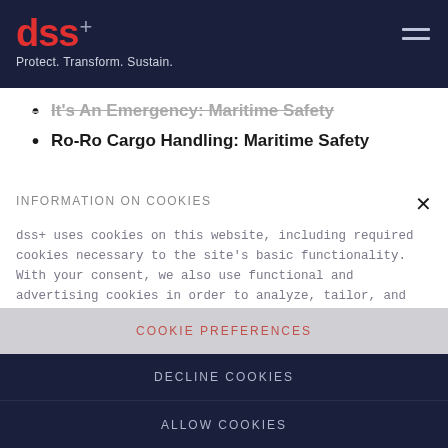dss+ Protect. Transform. Sustain.
It's An Emergency: Maritime Safety
Ro-Ro Cargo Handling: Maritime Safety
INFORMATION ON COOKIES
dss+ uses cookies on this website, including required cookies necessary to the site's basic functionality. With your consent, we also use functional and advertising cookies in order to analyze, tailor, and enhance your experience. Please indicate your preferences, manage your settings, or learn more in our Privacy Notice.
COOKIE PREFERENCES
DECLINE COOKIES
ALLOW COOKIES